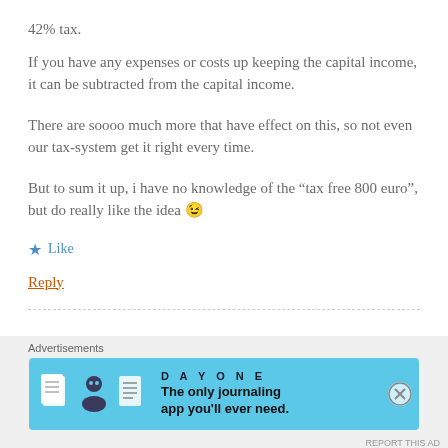42% tax.
If you have any expenses or costs up keeping the capital income, it can be subtracted from the capital income.
There are soooo much more that have effect on this, so not even our tax-system get it right every time.
But to sum it up, i have no knowledge of the “tax free 800 euro”, but do really like the idea 😉
★ Like
Reply
Advertisements
[Figure (photo): Day One journaling app advertisement banner with blue background showing app icons and text: The only journaling app you'll ever need.]